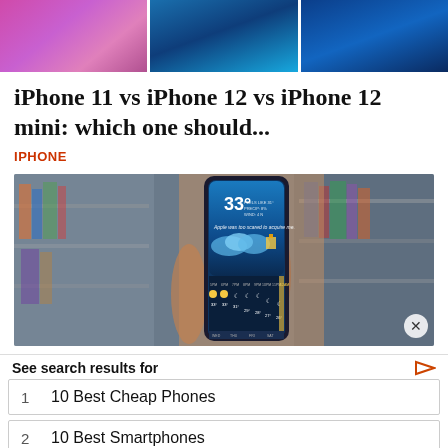[Figure (photo): Three iPhone product images at the top: pink/purple gradient, blue gradient, and dark blue gradient screens]
iPhone 11 vs iPhone 12 vs iPhone 12 mini: which one should...
IPHONE
[Figure (photo): A hand holding an iPhone showing a weather app with 33 degrees and hourly forecast on screen, with bookshelves blurred in background]
See search results for
1   10 Best Cheap Phones
2   10 Best Smartphones
Yahoo! Search | Sponsored